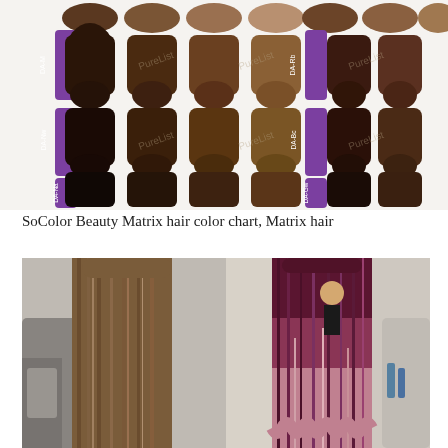[Figure (photo): SoColor Beauty Matrix hair color chart showing hair color swatches arranged in rows with purple labels: DA-M, DA-Nw, DA-Na on the left side and DA-Rb, DA-Bc, DA-Gw on the right side. Each row shows multiple hair color swatches ranging from very dark to medium brown tones.]
SoColor Beauty Matrix hair color chart, Matrix hair
[Figure (photo): Before and after hair color transformation photo split in the middle. Left side shows straight brown hair with natural color before treatment. Right side shows hair colored with burgundy/mauve ombre balayage after treatment, taken in a salon setting.]